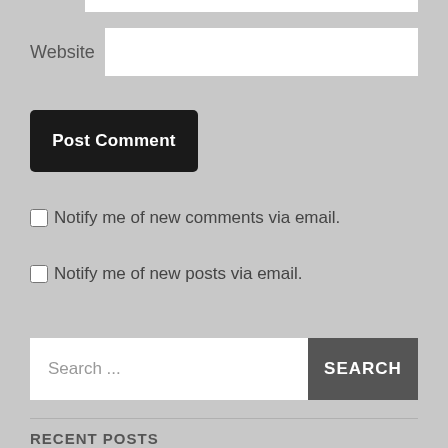Website
Post Comment
Notify me of new comments via email.
Notify me of new posts via email.
Search ...
SEARCH
RECENT POSTS